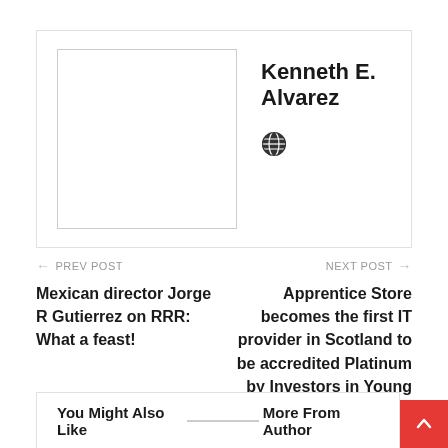[Figure (other): Author box with avatar placeholder and name Kenneth E. Alvarez with a globe icon]
Kenneth E. Alvarez
← PREV POST
Mexican director Jorge R Gutierrez on RRR: What a feast!
NEXT POST →
Apprentice Store becomes the first IT provider in Scotland to be accredited Platinum by Investors in Young People
You Might Also Like   More From Author